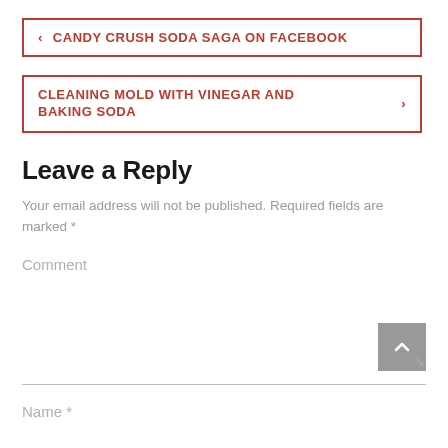‹ CANDY CRUSH SODA SAGA ON FACEBOOK
CLEANING MOLD WITH VINEGAR AND BAKING SODA ›
Leave a Reply
Your email address will not be published. Required fields are marked *
Comment
Name *